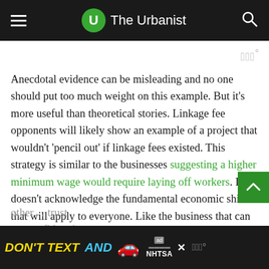The Urbanist
Anecdotal evidence can be misleading and no one should put too much weight on this example. But it's more useful than theoretical stories. Linkage fee opponents will likely show an example of a project that wouldn't 'pencil out' if linkage fees existed. This strategy is similar to the businesses suggesting a higher minimum wage would require laying off workers. It doesn't acknowledge the fundamental economic shifts that will apply to everyone. Like the business that can raise their prices, because everyone else in the city also raises their prices, developers can lower their land bids because all other...
DON'T TEXT AND [car emoji] ad NHTSA [watermark]